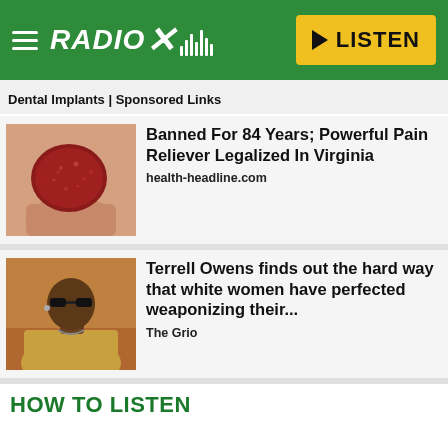[Figure (logo): Radio X logo with green header bar and yellow LISTEN button]
Dental Implants | Sponsored Links
[Figure (photo): A red gummy candy held between fingers]
Banned For 84 Years; Powerful Pain Reliever Legalized In Virginia
health-headline.com
[Figure (photo): Man in sunglasses and gold jacket at a sports event]
Terrell Owens finds out the hard way that white women have perfected weaponizing their...
The Grio
HOW TO LISTEN